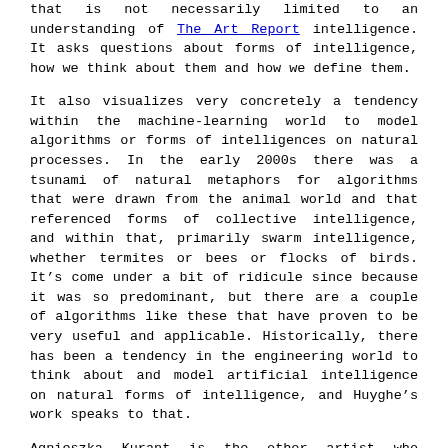that is not necessarily limited to an understanding of human intelligence. It asks questions about forms of intelligence, how we think about them and how we define them.
It also visualizes very concretely a tendency within the machine-learning world to model algorithms or forms of intelligences on natural processes. In the early 2000s there was a tsunami of natural metaphors for algorithms that were drawn from the animal world and that referenced forms of collective intelligence, and within that, primarily swarm intelligence, whether termites or bees or flocks of birds. It’s come under a bit of ridicule since because it was so predominant, but there are a couple of algorithms like these that have proven to be very useful and applicable. Historically, there has been a tendency in the engineering world to think about and model artificial intelligence on natural forms of intelligence, and Huyghe’s work speaks to that.
Agnieszka Kurant is the other artist who clearly speaks to that, with her termite mounds. The show also includes her liquid crystal paintings, which operate like heat